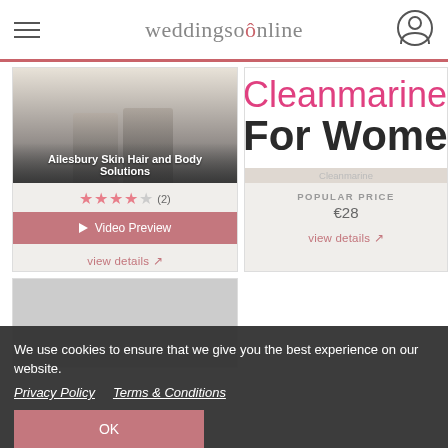weddingsonline
[Figure (screenshot): Ailesbury Skin Hair and Body Solutions listing card with star rating and video preview button]
Ailesbury Skin Hair and Body Solutions
★★★★☆ (2)
▷ Video Preview
view details ↗
[Figure (screenshot): Cleanmarine For Women product listing card with popular price €28]
Cleanmarine
POPULAR PRICE
€28
view details ↗
[Figure (photo): Two women in outdoor photos side by side]
We use cookies to ensure that we give you the best experience on our website.
Privacy Policy   Terms & Conditions
OK